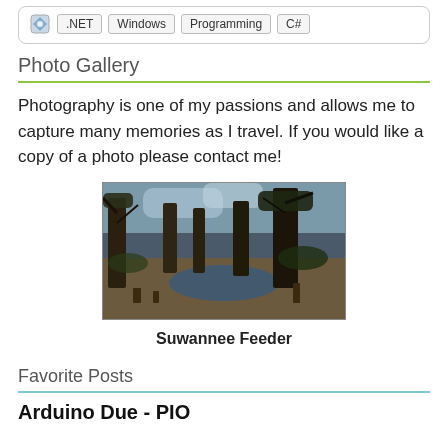[Figure (other): Tag card showing .NET, Windows, Programming, C# tags with a small icon]
Photo Gallery
Photography is one of my passions and allows me to capture many memories as I travel. If you would like a copy of a photo please contact me!
[Figure (photo): Landscape photo of a woodland creek scene with cypress trees labeled Suwannee Feeder]
Suwannee Feeder
Favorite Posts
Arduino Due - PIO